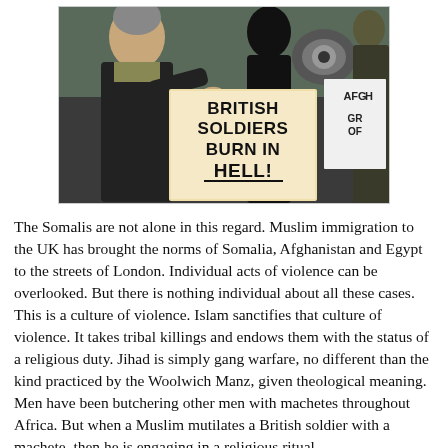[Figure (photo): A protest scene showing a man in a black jacket and grey beanie pointing his finger, with people behind him holding a megaphone and a sign reading 'BRITISH SOLDIERS BURN IN HELL!' and a partial sign reading 'AFGH GR OF']
The Somalis are not alone in this regard. Muslim immigration to the UK has brought the norms of Somalia, Afghanistan and Egypt to the streets of London. Individual acts of violence can be overlooked. But there is nothing individual about all these cases. This is a culture of violence. Islam sanctifies that culture of violence. It takes tribal killings and endows them with the status of a religious duty. Jihad is simply gang warfare, no different than the kind practiced by the Woolwich Manz, given theological meaning. Men have been butchering other men with machetes throughout Africa. But when a Muslim mutilates a British soldier with a machete, then he is engaging in a religious ritual.
This is a partial line cut off at the bottom of the page.